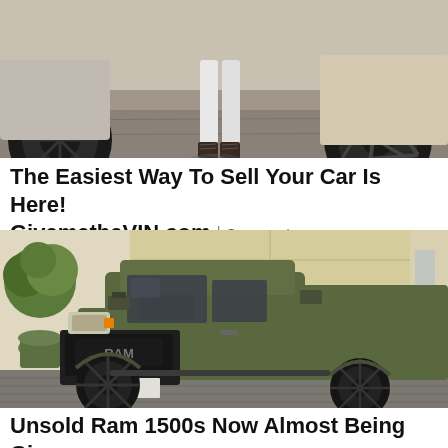[Figure (photo): Top portion of a photo showing a person in white pants and strappy heels standing near luxury cars including a Ferrari with yellow brake calipers and large black wheel]
The Easiest Way To Sell Your Car Is Here! GivemetheVIN.com | Sponsored
[Figure (photo): Photo of a matte olive green RAM 1500 TRX pickup truck parked in a driveway in front of a garage, with large off-road tires and aggressive styling]
Unsold Ram 1500s Now Almost Being Given